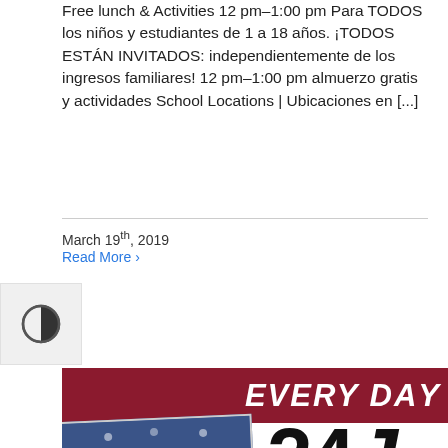Free lunch & Activities 12 pm–1:00 pm Para TODOS los niños y estudiantes de 1 a 18 años. ¡TODOS ESTÁN INVITADOS: independientemente de los ingresos familiares! 12 pm–1:00 pm almuerzo gratis y actividades School Locations | Ubicaciones en [...]
March 19th, 2019
Read More ›
[Figure (illustration): Contrast toggle button with half-filled circle icon]
[Figure (infographic): Salem-Keizer Public Schools banner: dark red background with 'Every Day' text in white italic uppercase on the right, and '24J' in large black bold text below, next to a graduation ceremony photo. Text reads 'Salem-Keizer Public Schools Be There.']